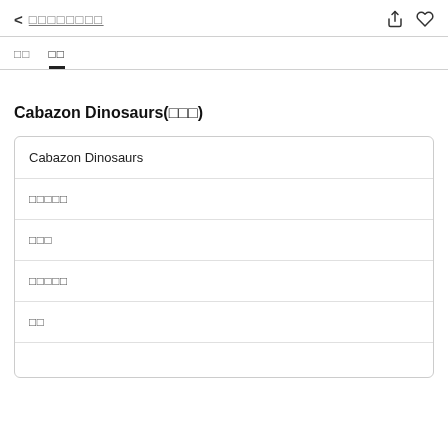< □□□□□□□□
□□  □□
Cabazon Dinosaurs(□□□)
| Cabazon Dinosaurs |
| □□□□□ |
| □□□ |
| □□□□□ |
| □□ |